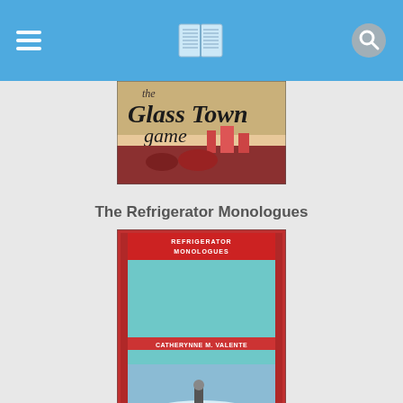Book listing app navigation bar
[Figure (screenshot): Partial book cover for 'The Glass Town Game' - showing illustrated text and imagery, partially cut off at top]
The Refrigerator Monologues
[Figure (illustration): Book cover for 'The Refrigerator Monologues' by Catherynne M. Valente - dark red comic-style panel border with small figure in snowy/icy scene, teal cover interior]
The Best of Beneath Ceaseless Skies Online Magazine, Year Eight
[Figure (illustration): Partial book cover for 'The Best of Beneath Ceaseless Skies Online Magazine, Year Eight' - partially visible at bottom of page]